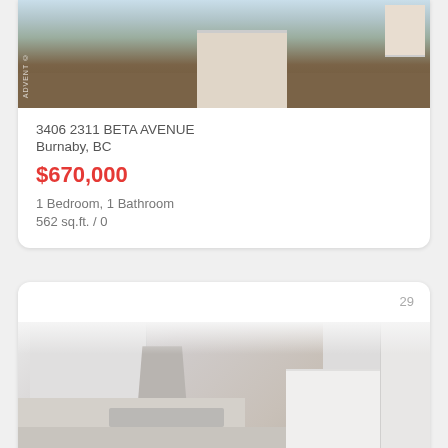[Figure (photo): Interior photo of a modern kitchen with wood-tone island and dark hardwood floors, with ADVENT watermark]
3406 2311 BETA AVENUE
Burnaby, BC
$670,000
1 Bedroom, 1 Bathroom
562 sq.ft. / 0
29
[Figure (photo): Interior photo of a modern white kitchen with light grey cabinetry, stainless steel range hood, marble backsplash, and white island]